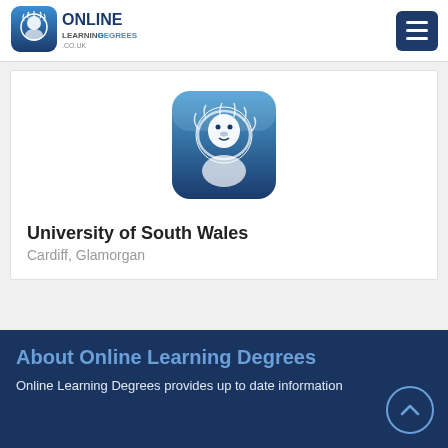Online Learning Degrees .co.uk
[Figure (logo): Online Learning Degrees logo with lion head icon and site name]
[Figure (logo): University of South Wales shield logo with lion head]
University of South Wales
Cardiff, Glamorgan
About Online Learning Degrees
Online Learning Degrees provides up to date information